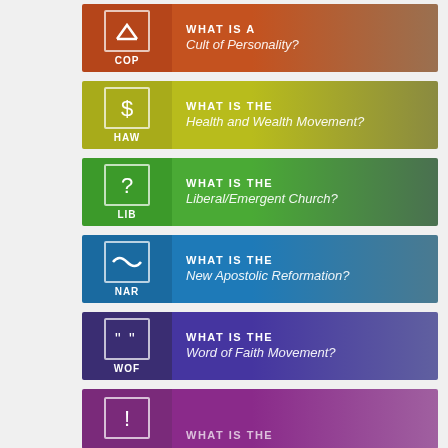[Figure (infographic): Card: COP - What is a Cult of Personality? Orange/brown background with icon of caret symbol in box, labeled COP]
[Figure (infographic): Card: HAW - What is the Health and Wealth Movement? Yellow-green background with dollar sign icon in box, labeled HAW]
[Figure (infographic): Card: LIB - What is the Liberal/Emergent Church? Green background with question mark icon in box, labeled LIB]
[Figure (infographic): Card: NAR - What is the New Apostolic Reformation? Teal/blue background with tilde icon in box, labeled NAR]
[Figure (infographic): Card: WOF - What is the Word of Faith Movement? Purple background with quote marks icon in box, labeled WOF]
[Figure (infographic): Card: Partial card at bottom - What is the... Purple/violet background with exclamation icon, partially cut off]